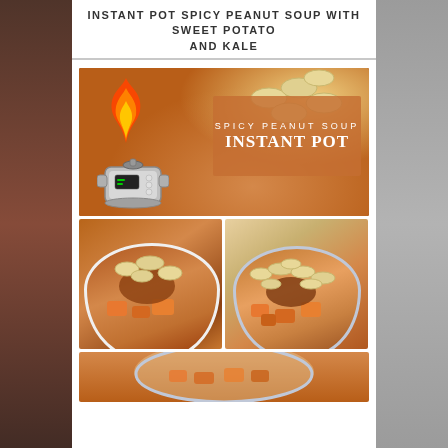INSTANT POT SPICY PEANUT SOUP WITH SWEET POTATO AND KALE
[Figure (photo): Collage of four food photos showing Instant Pot spicy peanut soup with sweet potato and kale. Top large image shows the soup with peanuts and text overlay 'SPICY PEANUT SOUP INSTANT POT' with a flame and pressure cooker icon. Bottom two images show bowls of the soup close up from different angles. A partial fourth image is visible at the bottom.]